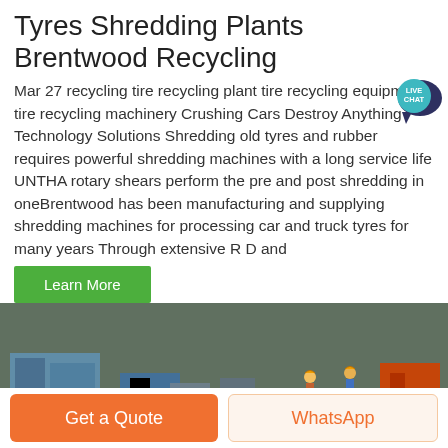Tyres Shredding Plants Brentwood Recycling
Mar 27 recycling tire recycling plant tire recycling equipment tire recycling machinery Crushing Cars Destroy Anything Technology Solutions Shredding old tyres and rubber requires powerful shredding machines with a long service life UNTHA rotary shears perform the pre and post shredding in oneBrentwood has been manufacturing and supplying shredding machines for processing car and truck tyres for many years Through extensive R D and
Learn More
[Figure (photo): Aerial/overhead view of a tyre shredding plant manufacturing facility with industrial conveyor belts, machinery, and workers in hard hats visible on the floor.]
Get a Quote
WhatsApp